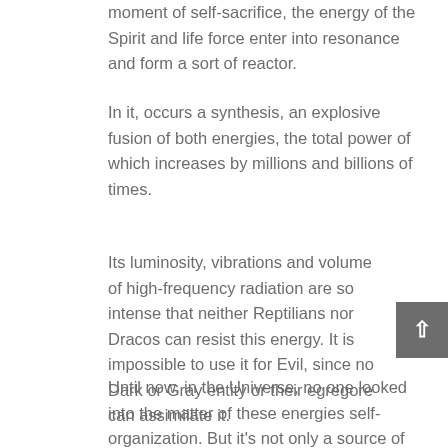moment of self-sacrifice, the energy of the Spirit and life force enter into resonance and form a sort of reactor.
In it, occurs a synthesis, an explosive fusion of both energies, the total power of which increases by millions and billions of times.
Its luminosity, vibrations and volume of high-frequency radiation are so intense that neither Reptilians nor Dracos can resist this energy. It is impossible to use it for Evil, since no Dark or Gray entity or their egregore can assimilate it.
Until now, in the Universe, no one looked into the matter of these energies self-organization. But it's not only a source of Absolute Power, but also the knowledge of man and his hidden capacities, which...